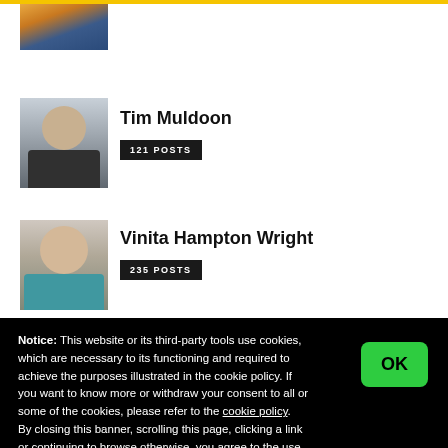[Figure (photo): Partial photo of a person (cropped, top portion only)]
[Figure (photo): Photo of Tim Muldoon, a man in a dark jacket]
Tim Muldoon
121 POSTS
[Figure (photo): Photo of Vinita Hampton Wright, a woman in a teal blouse]
Vinita Hampton Wright
235 POSTS
Notice: This website or its third-party tools use cookies, which are necessary to its functioning and required to achieve the purposes illustrated in the cookie policy. If you want to know more or withdraw your consent to all or some of the cookies, please refer to the cookie policy.
By closing this banner, scrolling this page, clicking a link or continuing to browse otherwise, you agree to the use of cookies.